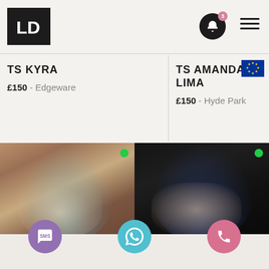LD [logo] — bell notification (3) — hamburger menu
TS KYRA
£150 - Edgeware
[Figure (illustration): Brazilian flag emoji]
TS AMANDA LIMA
£150 - Hyde Park
[Figure (illustration): European Union flag emoji]
[Figure (photo): Blonde woman in blue lingerie against brick-wall background, with online green dot indicator]
[Figure (photo): Blonde woman in blue lace lingerie against dark background, with online green dot indicator]
[Figure (illustration): Three circular action buttons: purple SMS, teal WhatsApp, pink phone call]